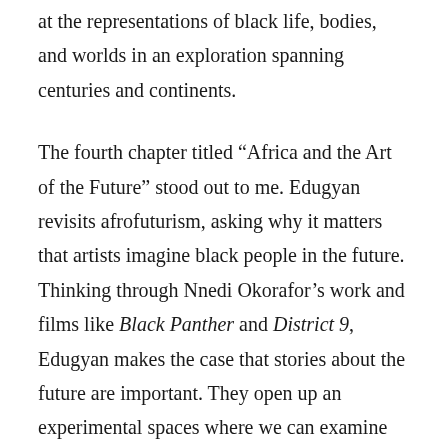at the representations of black life, bodies, and worlds in an exploration spanning centuries and continents.
The fourth chapter titled “Africa and the Art of the Future” stood out to me. Edugyan revisits afrofuturism, asking why it matters that artists imagine black people in the future. Thinking through Nnedi Okorafor’s work and films like Black Panther and District 9, Edugyan makes the case that stories about the future are important. They open up an experimental spaces where we can examine what went wrong in the past while imagining ways to repair the damage caused by these wrongs.